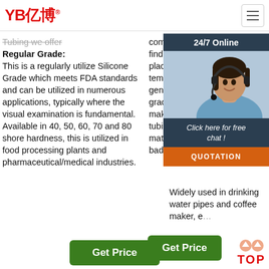YB亿博® [logo] [hamburger menu]
Tubing we offer Regular Grade: This is a regularly utilize Silicone Grade which meets FDA standards and can be utilized in numerous applications, typically where the visual examination is fundamental. Available in 40, 50, 60, 70 and 80 shore hardness, this is utilized in food processing plants and pharmaceutical/medical industries.
comes in a red color. You can find it on eBay, among other places, and it's rated for temperatures of 500 F or so, generally. And yes, it is food grade material. THAT SAID, make absolutely sure that the tubing is leaking. That material generally doesn't go bad.
[Figure (photo): Customer service representative with headset, chat widget overlay showing '24/7 Online', 'Click here for free chat!', and QUOTATION button]
Food Grade Silicone Tubing. Description: food grade silicone product is formulated with advanced silicone technology. Extremely soft. Wide temperature performance. Widely used in drinking water pipes and coffee maker, etc.
Get Price
Get Price